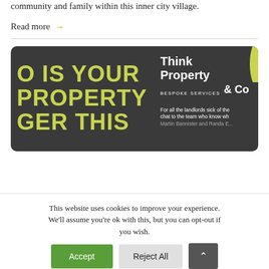community and family within this inner city village.
Read more →
[Figure (advertisement): Dark grey banner ad for Think Property & Co Bespoke Services. Left side shows large yellow-green text reading 'O IS YOUR PROPERTY GER THIS'. Right side shows the Think Property & Co logo with text 'For all the landlords sick of the... chat to the team who know wh... Martin Bannister and Randa E...']
This website uses cookies to improve your experience. We'll assume you're ok with this, but you can opt-out if you wish.
Accept
Reject All